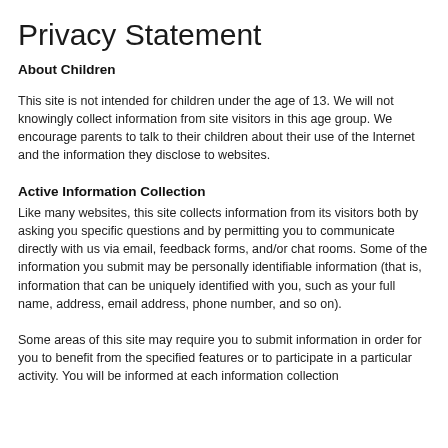Privacy Statement
About Children
This site is not intended for children under the age of 13. We will not knowingly collect information from site visitors in this age group. We encourage parents to talk to their children about their use of the Internet and the information they disclose to websites.
Active Information Collection
Like many websites, this site collects information from its visitors both by asking you specific questions and by permitting you to communicate directly with us via email, feedback forms, and/or chat rooms. Some of the information you submit may be personally identifiable information (that is, information that can be uniquely identified with you, such as your full name, address, email address, phone number, and so on).
Some areas of this site may require you to submit information in order for you to benefit from the specified features or to participate in a particular activity. You will be informed at each information collection